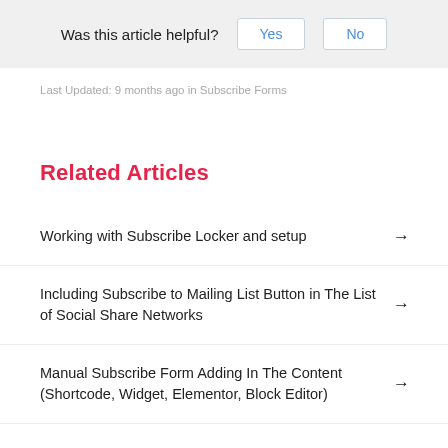Was this article helpful? Yes No
Last Updated: 9 months ago in Subscribe Forms
Related Articles
Working with Subscribe Locker and setup →
Including Subscribe to Mailing List Button in The List of Social Share Networks →
Manual Subscribe Form Adding In The Content (Shortcode, Widget, Elementor, Block Editor) →